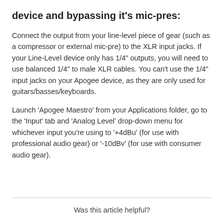device and bypassing it's mic-pres:
Connect the output from your line-level piece of gear (such as a compressor or external mic-pre) to the XLR input jacks. If your Line-Level device only has 1/4” outputs, you will need to use balanced 1/4” to male XLR cables. You can’t use the 1/4” input jacks on your Apogee device, as they are only used for guitars/basses/keyboards.
Launch ‘Apogee Maestro’ from your Applications folder, go to the ‘Input’ tab and ‘Analog Level’ drop-down menu for whichever input you’re using to ‘+4dBu’ (for use with professional audio gear) or ‘-10dBv’ (for use with consumer audio gear).
Was this article helpful?